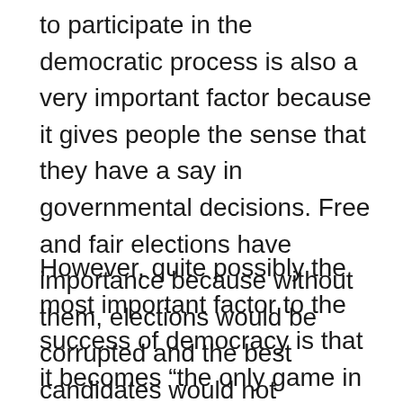to participate in the democratic process is also a very important factor because it gives people the sense that they have a say in governmental decisions. Free and fair elections have importance because without them, elections would be corrupted and the best candidates would not necessarily win.
However, quite possibly the most important factor to the success of democracy is that it becomes “the only game in town” (Linz and Stepan 1996, 15). Without universal support of a nation, democracy will not succeed. All